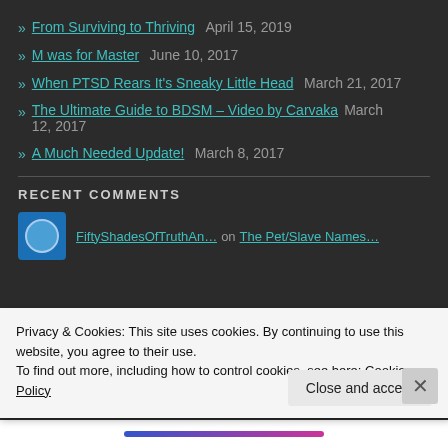» From Surviving to Thriving  April 15, 2019
» M was for Master  June 10, 2017
» When PTSD Rears It's Sneaky Little Head  March 21, 2017
» The Ultimate Guide to BDSM – Video by Carvaka  March 12, 2017
» A Much Needed Update!  March 8, 2017
RECENT COMMENTS
FiftyShadesOfTruthAn…  on The Pet/Slave Names…
Privacy & Cookies: This site uses cookies. By continuing to use this website, you agree to their use.
To find out more, including how to control cookies, see here: Cookie Policy
Close and accept